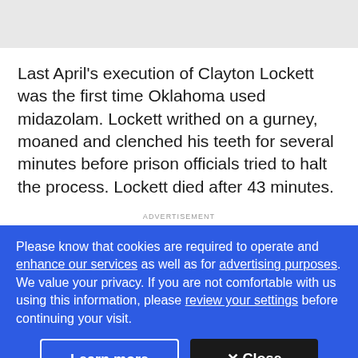Last April's execution of Clayton Lockett was the first time Oklahoma used midazolam. Lockett writhed on a gurney, moaned and clenched his teeth for several minutes before prison officials tried to halt the process. Lockett died after 43 minutes.
ADVERTISEMENT
Please know that cookies are required to operate and enhance our services as well as for advertising purposes. We value your privacy. If you are not comfortable with us using this information, please review your settings before continuing your visit.
Learn more
✕ Close